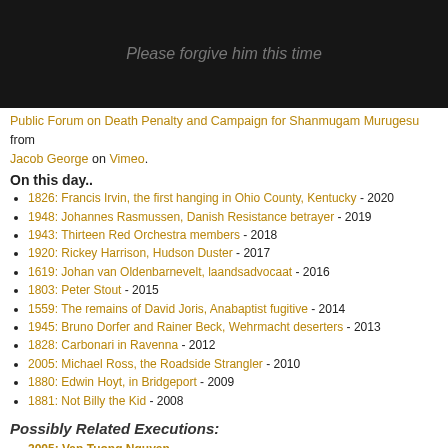[Figure (photo): Dark/black background image with text overlay reading 'Please forgive him this time']
Public Forum on Death Penalty and Campaign for Shanmugam Murugesu from Jacob George on Vimeo.
On this day..
1826: Francis Irvin, the first hanging in Ohio County, Kentucky - 2020
1948: Johannes Rasmussen, Danish Resistance betrayer - 2019
1943: Thirteen Red Orchestra members - 2018
1920: Rickey Harrison, Hudson Duster - 2017
1619: Johan van Oldenbarnevelt, laandsadvocaat - 2016
1803: Peter Stout - 2015
1559: The remains of David Joris, Anabaptist fugitive - 2014
1945: Bruno Dorfer and Rainer Beck, Wehrmacht deserters - 2013
1828: Carbonari in Ravenna - 2012
2005: Michael Ross, the Roadside Strangler - 2010
1880: Edwin Hoyt, in Bridgeport - 2009
1881: Not Billy the Kid - 2008
Possibly Related Executions:
2005: Van Tuong Nguyen
1994: Johannes van Damme, heroin smuggler
2010: Six drug traffickers in Isfahan
2004: Manny Takuma, for the Osaka school massacre